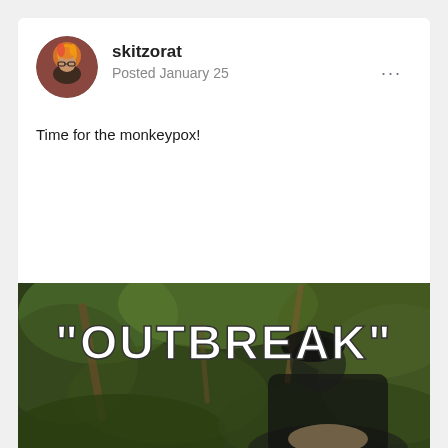[Figure (illustration): Circular user avatar showing a person with orange/fire-like color effect, wearing glasses]
skitzorat
Posted January 25
Time for the monkeypox!
[Figure (photo): A meme image showing a person against a green forest/jungle background with bold white text reading "OUTBREAK"]